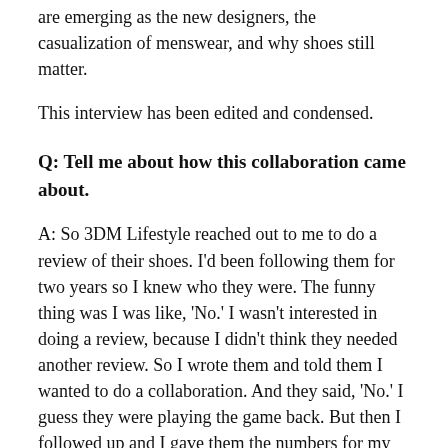are emerging as the new designers, the casualization of menswear, and why shoes still matter.
This interview has been edited and condensed.
Q: Tell me about how this collaboration came about.
A: So 3DM Lifestyle reached out to me to do a review of their shoes. I'd been following them for two years so I knew who they were. The funny thing was I was like, 'No.' I wasn't interested in doing a review, because I didn't think they needed another review. So I wrote them and told them I wanted to do a collaboration. And they said, 'No.' I guess they were playing the game back. But then I followed up and I gave them the numbers for my last collaborations. And they went for it.
Q: Oh, yes, you had other collaborations with local brands. I'm assuming they did well?
A: Yes. I've collabbed with Armstrong & Wilson and Moda Matters. But I think [3DM Lifestyle] was impressed with the